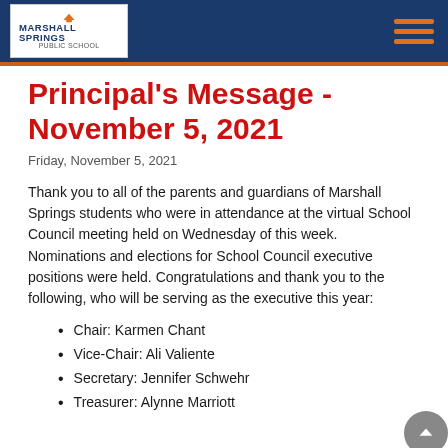Marshall Springs
Principal's Message - November 5, 2021
Friday, November 5, 2021
Thank you to all of the parents and guardians of Marshall Springs students who were in attendance at the virtual School Council meeting held on Wednesday of this week.  Nominations and elections for School Council executive positions were held. Congratulations and thank you to the following, who will be serving as the executive this year:
Chair: Karmen Chant
Vice-Chair: Ali Valiente
Secretary: Jennifer Schwehr
Treasurer: Alynne Marriott